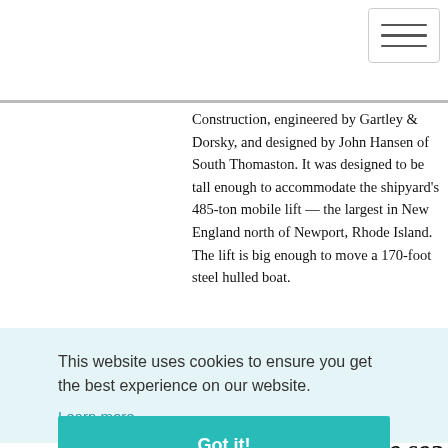Navigation menu (hamburger icon)
Construction, engineered by Gartley & Dorsky, and designed by John Hansen of South Thomaston. It was designed to be tall enough to accommodate the shipyard's 485-ton mobile lift — the largest in New England north of Newport, Rhode Island. The lift is big enough to move a 170-foot steel hulled boat.
[Figure (photo): Small thumbnail photo of interior of a building with people]
New public magnet school has a [sea]
This website uses cookies to ensure you get the best experience on our website. Learn more
Got it!
[partial text] ...at the ...epare
[partial heading] ...ion